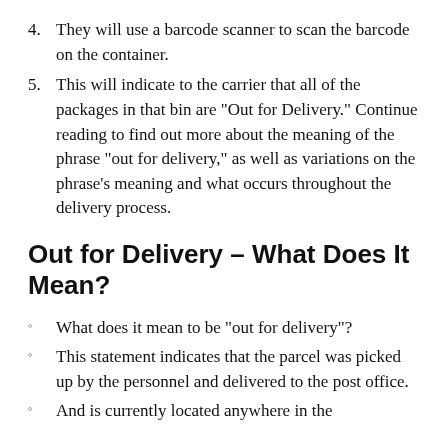4. They will use a barcode scanner to scan the barcode on the container.
5. This will indicate to the carrier that all of the packages in that bin are "Out for Delivery." Continue reading to find out more about the meaning of the phrase "out for delivery," as well as variations on the phrase's meaning and what occurs throughout the delivery process.
Out for Delivery – What Does It Mean?
What does it mean to be "out for delivery"?
This statement indicates that the parcel was picked up by the personnel and delivered to the post office.
And is currently located anywhere in the